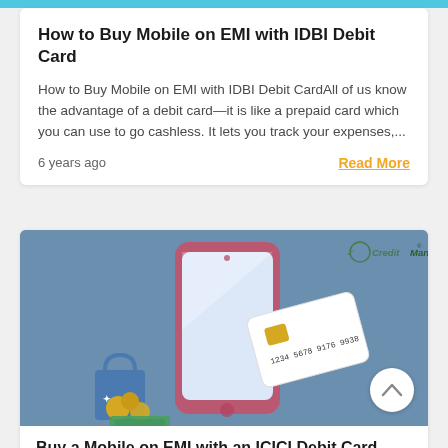How to Buy Mobile on EMI with IDBI Debit Card
How to Buy Mobile on EMI with IDBI Debit CardAll of us know the advantage of a debit card—it is like a prepaid card which you can use to go cashless. It lets you track your expenses,...
6 years ago
Read More
[Figure (illustration): Isometric illustration of a smartphone with a debit card sliding out, shopping bags, coins, and cash on a blue-grey background with CreditMantri logo]
Buy a Mobile on EMI with an ICICI Debit Card